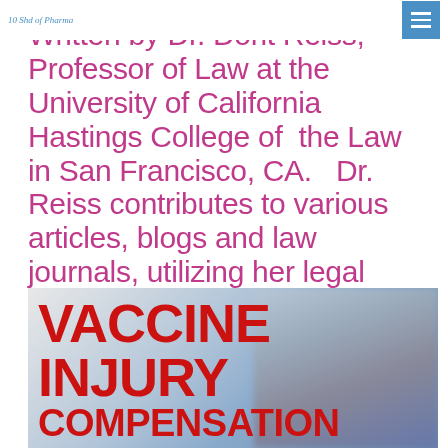10 Shd of Pharma [logo] [menu button]
Written by Dr. Dorit Reiss, Professor of Law at the University of California Hastings College of the Law in San Francisco, CA. Dr. Reiss contributes to various articles, blogs and law journals, utilizing her legal expertise to examine the social policies of immunization.
[Figure (photo): Image with large bold red text reading 'VACCINE INJURY COMPENSATION' overlaid on a blurred background photo]